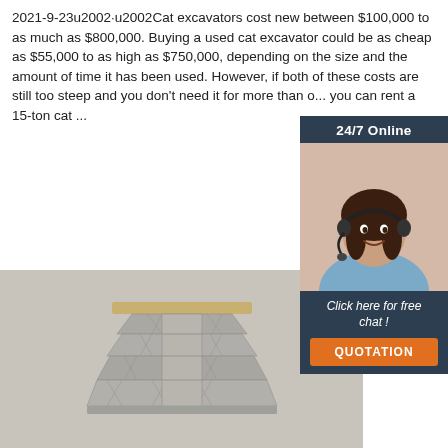2021-9-23u2002·u2002Cat excavators cost new between $100,000 to as much as $800,000. Buying a used cat excavator could be as cheap as $55,000 to as high as $750,000, depending on the size and the amount of time it has been used. However, if both of these costs are still too steep and you don't need it for more than o... you can rent a 15-ton cat ...
[Figure (other): Orange 'Get Price' button]
[Figure (illustration): 24/7 online chat widget with woman wearing headset, dark navy background, orange QUOTATION button]
[Figure (photo): 3D rendering of a grey scaffolding or modular shelf structure on a grey background]